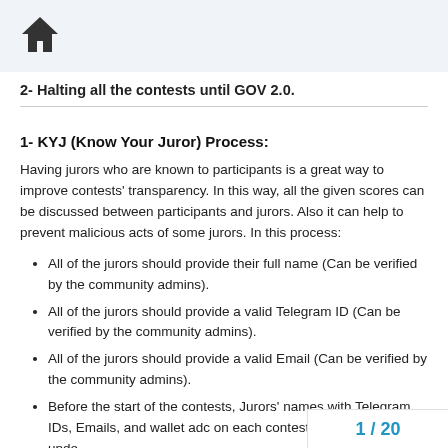[Figure (illustration): Home icon (house silhouette) in dark gray]
2- Halting all the contests until GOV 2.0.
1- KYJ (Know Your Juror) Process:
Having jurors who are known to participants is a great way to improve contests' transparency. In this way, all the given scores can be discussed between participants and jurors. Also it can help to prevent malicious acts of some jurors. In this process:
All of the jurors should provide their full name (Can be verified by the community admins).
All of the jurors should provide a valid Telegram ID (Can be verified by the community admins).
All of the jurors should provide a valid Email (Can be verified by the community admins).
Before the start of the contests, Jurors' names with Telegram IDs, Emails, and wallet addresses will be published on each contest's forum page, under...
1 / 20